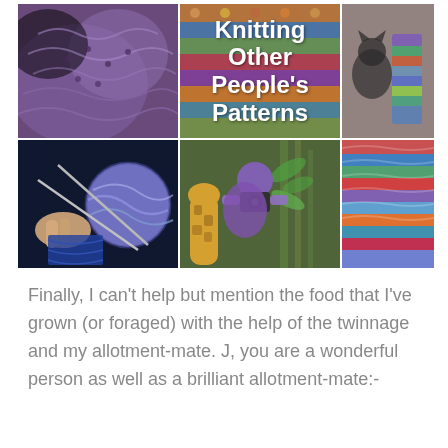[Figure (photo): A 2x3 collage of knitting and crafting photos. Top row: purple knitted fabric close-up, center image with title text 'Knitting Other People's Patterns' over a colorful patterned background, colorful socks and a cat. Bottom row: hands knitting blue yarn with needles, a person with purple hat photographing a giraffe, colorful striped knitted blanket.]
Finally, I can't help but mention the food that I've grown (or foraged) with the help of the twinnage and my allotment-mate. J, you are a wonderful person as well as a brilliant allotment-mate:-